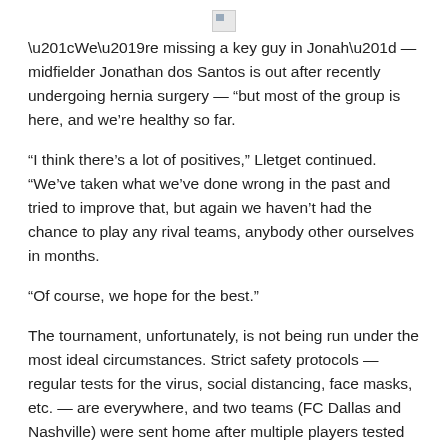[Figure (other): Broken image placeholder icon at top center of page]
“We’re missing a key guy in Jonah” — midfielder Jonathan dos Santos is out after recently undergoing hernia surgery — “but most of the group is here, and we’re healthy so far.
“I think there’s a lot of positives,” Lletget continued. “We’ve taken what we’ve done wrong in the past and tried to improve that, but again we haven’t had the chance to play any rival teams, anybody other ourselves in months.
“Of course, we hope for the best.”
The tournament, unfortunately, is not being run under the most ideal circumstances. Strict safety protocols — regular tests for the virus, social distancing, face masks, etc. — are everywhere, and two teams (FC Dallas and Nashville) were sent home after multiple players tested positive.
The Galaxy’s Javier “Chicharito” Hernandez, however, said it’s still possible to find time to relax despite being in an environment…